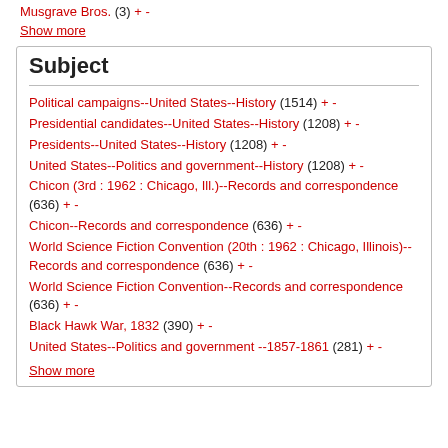Musgrave Bros. (3) + -
Show more
Subject
Political campaigns--United States--History (1514) + -
Presidential candidates--United States--History (1208) + -
Presidents--United States--History (1208) + -
United States--Politics and government--History (1208) + -
Chicon (3rd : 1962 : Chicago, Ill.)--Records and correspondence (636) + -
Chicon--Records and correspondence (636) + -
World Science Fiction Convention (20th : 1962 : Chicago, Illinois)--Records and correspondence (636) + -
World Science Fiction Convention--Records and correspondence (636) + -
Black Hawk War, 1832 (390) + -
United States--Politics and government --1857-1861 (281) + -
Show more